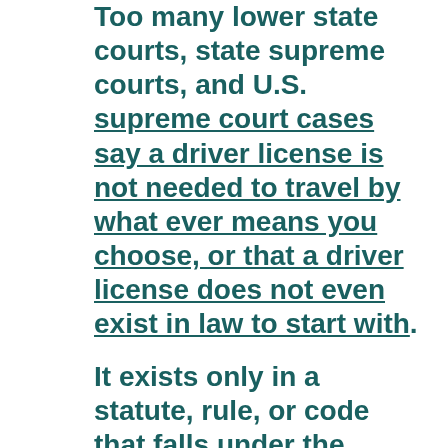Too many lower state courts, state supreme courts, and U.S. supreme court cases say a driver license is not needed to travel by what ever means you choose, or that a driver license does not even exist in law to start with. It exists only in a statute, rule, or code that falls under the constitution, and any law that is in violation of a constitutional right is void, without force, unlawful. School districts will decide for themselves what is best for them, and the national government must stay out of their business, except to set